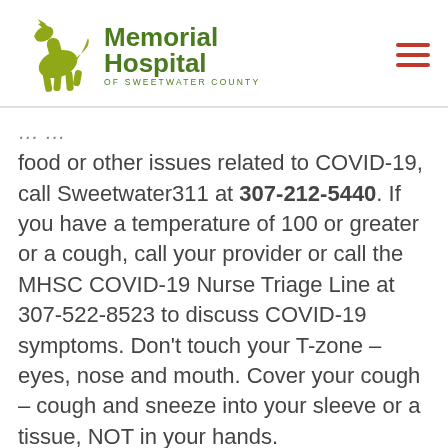[Figure (logo): Memorial Hospital of Sweetwater County logo with a golden/olive-green running horse silhouette and text 'Memorial Hospital OF SWEETWATER COUNTY' in dark green]
food or other issues related to COVID-19, call Sweetwater311 at 307-212-5440. If you have a temperature of 100 or greater or a cough, call your provider or call the MHSC COVID-19 Nurse Triage Line at 307-522-8523 to discuss COVID-19 symptoms. Don't touch your T-zone – eyes, nose and mouth. Cover your cough – cough and sneeze into your sleeve or a tissue, NOT in your hands.
More health and community updates can be found at sweetwatermemorial.com,